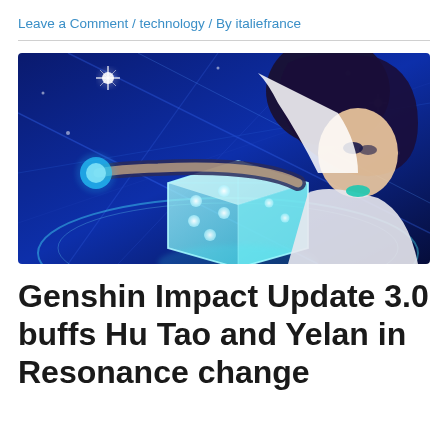Leave a Comment / technology / By italiefrance
[Figure (illustration): Anime-style character from Genshin Impact with dark blue hair wearing a white outfit, surrounded by blue glowing dice and geometric light beams on a dark blue background.]
Genshin Impact Update 3.0 buffs Hu Tao and Yelan in Resonance change